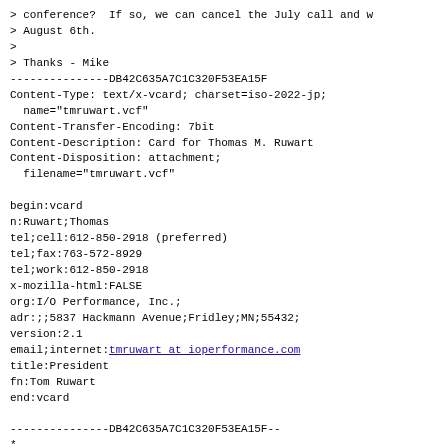> conference?  If so, we can cancel the July call and w
> August 6th.
>
> Thanks - Mike
---------------DB42C635A7C1C320F53EA15F
Content-Type: text/x-vcard; charset=iso-2022-jp;
  name="tmruwart.vcf"
Content-Transfer-Encoding: 7bit
Content-Description: Card for Thomas M. Ruwart
Content-Disposition: attachment;
  filename="tmruwart.vcf"

begin:vcard
n:Ruwart;Thomas
tel;cell:612-850-2918 (preferred)
tel;fax:763-572-8929
tel;work:612-850-2918
x-mozilla-html:FALSE
org:I/O Performance, Inc.;
adr:;;5837 Hackmann Avenue;Fridley;MN;55432;
version:2.1
email;internet:tmruwart at ioperformance.com
title:President
fn:Tom Ruwart
end:vcard

---------------DB42C635A7C1C320F53EA15F--
*
* From TIA-F-Mastermind Consortium mailing...